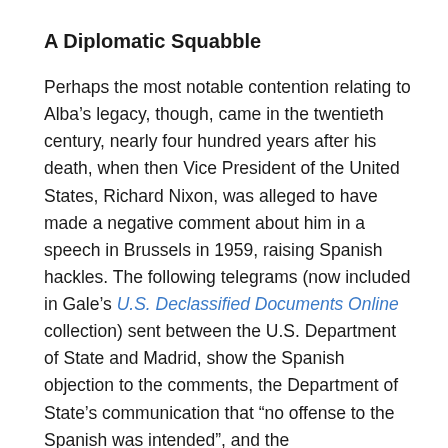A Diplomatic Squabble
Perhaps the most notable contention relating to Alba’s legacy, though, came in the twentieth century, nearly four hundred years after his death, when then Vice President of the United States, Richard Nixon, was alleged to have made a negative comment about him in a speech in Brussels in 1959, raising Spanish hackles. The following telegrams (now included in Gale’s U.S. Declassified Documents Online collection) sent between the U.S. Department of State and Madrid, show the Spanish objection to the comments, the Department of State’s communication that “no offense to the Spanish was intended”, and the